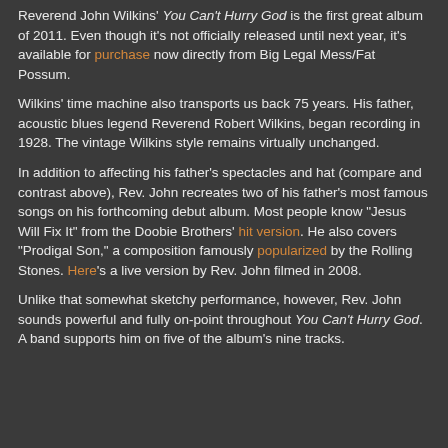Reverend John Wilkins' You Can't Hurry God is the first great album of 2011. Even though it's not officially released until next year, it's available for purchase now directly from Big Legal Mess/Fat Possum.
Wilkins' time machine also transports us back 75 years. His father, acoustic blues legend Reverend Robert Wilkins, began recording in 1928. The vintage Wilkins style remains virtually unchanged.
In addition to affecting his father's spectacles and hat (compare and contrast above), Rev. John recreates two of his father's most famous songs on his forthcoming debut album. Most people know "Jesus Will Fix It" from the Doobie Brothers' hit version. He also covers "Prodigal Son," a composition famously popularized by the Rolling Stones. Here's a live version by Rev. John filmed in 2008.
Unlike that somewhat sketchy performance, however, Rev. John sounds powerful and fully on-point throughout You Can't Hurry God. A band supports him on five of the album's nine tracks.